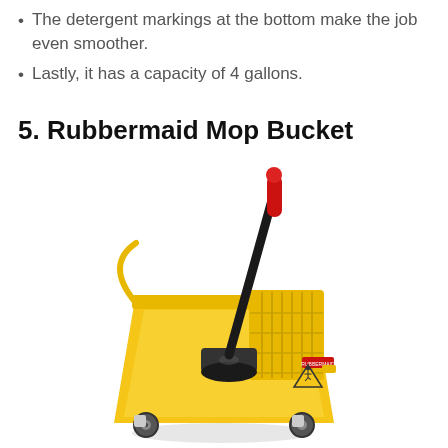The detergent markings at the bottom make the job even smoother.
Lastly, it has a capacity of 4 gallons.
5. Rubbermaid Mop Bucket
[Figure (photo): A yellow Rubbermaid mop bucket with a black wringer and a red-handled mop stick, featuring a wet floor warning sign on the side.]